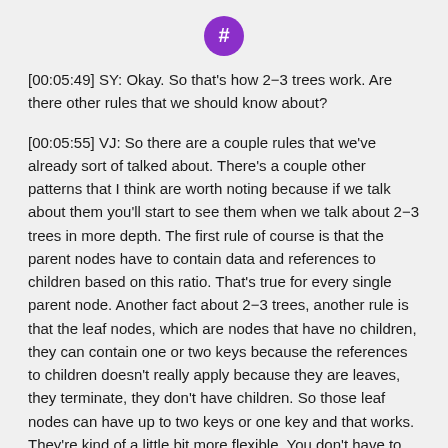[Figure (logo): Purple speech bubble icon with a hashtag symbol in white]
[00:05:49] SY: Okay. So that’s how 2−3 trees work. Are there other rules that we should know about?
[00:05:55] VJ: So there are a couple rules that we’ve already sort of talked about. There’s a couple other patterns that I think are worth noting because if we talk about them you’ll start to see them when we talk about 2−3 trees in more depth. The first rule of course is that the parent nodes have to contain data and references to children based on this ratio. That’s true for every single parent node. Another fact about 2−3 trees, another rule is that the leaf nodes, which are nodes that have no children, they can contain one or two keys because the references to children doesn’t really apply because they are leaves, they terminate, they don’t have children. So those leaf nodes can have up to two keys or one key and that works. They’re kind of a little bit more flexible. You don’t have to worry about children because as we’ve noted they don’t have children. But those are like the basic rules, but I think the more interesting thing to look at and to talk about is the